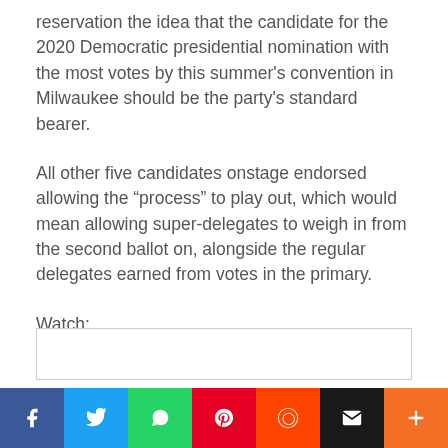reservation the idea that the candidate for the 2020 Democratic presidential nomination with the most votes by this summer’s convention in Milwaukee should be the party’s standard bearer.
All other five candidates onstage endorsed allowing the “process” to play out, which would mean allowing super-delegates to weigh in from the second ballot on, alongside the regular delegates earned from votes in the primary.
Watch:
[Figure (screenshot): Embedded video player box with light gray border]
[Figure (infographic): Social sharing bar with Facebook, Twitter, WhatsApp, Pinterest, Reddit, Email, and Plus buttons]